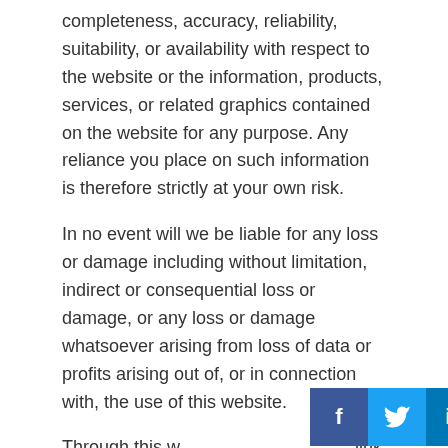completeness, accuracy, reliability, suitability, or availability with respect to the website or the information, products, services, or related graphics contained on the website for any purpose. Any reliance you place on such information is therefore strictly at your own risk.
In no event will we be liable for any loss or damage including without limitation, indirect or consequential loss or damage, or any loss or damage whatsoever arising from loss of data or profits arising out of, or in connection with, the use of this website.
Through this w[social bar overlay]link to other websites which are not under the control of Home
[Figure (infographic): Social media share buttons bar showing Facebook (f), Twitter (bird icon), LinkedIn (in), and Pinterest (P) icons in their respective brand colors (blue, light blue, dark blue, red)]